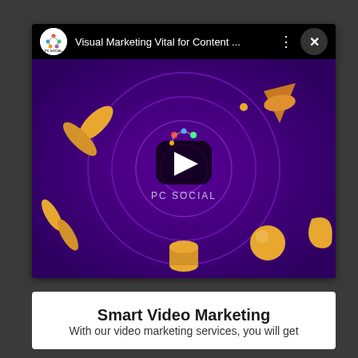[Figure (screenshot): YouTube-style video player showing 'Visual Marketing Vital for Content ...' with PC Social channel icon, purple background with 3D objects and play button, PC SOCIAL text centered]
Smart Video Marketing
With our video marketing services, you will get